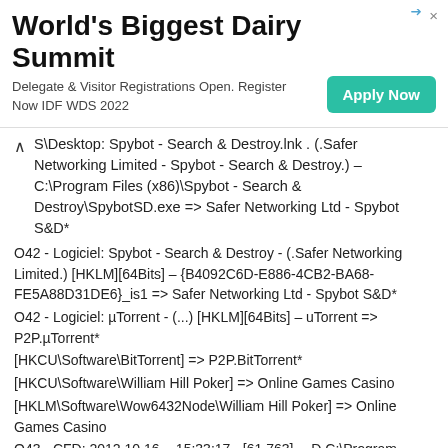[Figure (other): Advertisement banner for World's Biggest Dairy Summit with Apply Now button]
S\Desktop: Spybot - Search & Destroy.lnk . (.Safer Networking Limited - Spybot - Search & Destroy.) – C:\Program Files (x86)\Spybot - Search & Destroy\SpybotSD.exe => Safer Networking Ltd - Spybot S&D*
O42 - Logiciel: Spybot - Search & Destroy - (.Safer Networking Limited.) [HKLM][64Bits] – {B4092C6D-E886-4CB2-BA68-FE5A88D31DE6}_is1 => Safer Networking Ltd - Spybot S&D*
O42 - Logiciel: µTorrent - (...) [HKLM][64Bits] – uTorrent => P2P.µTorrent*
[HKCU\Software\BitTorrent] => P2P.BitTorrent*
[HKCU\Software\William Hill Poker] => Online Games Casino
[HKLM\Software\Wow6432Node\William Hill Poker] => Online Games Casino
O43 - CFD: 2012.10.16. - 15:33:17 - [61,763] —D C:\Program